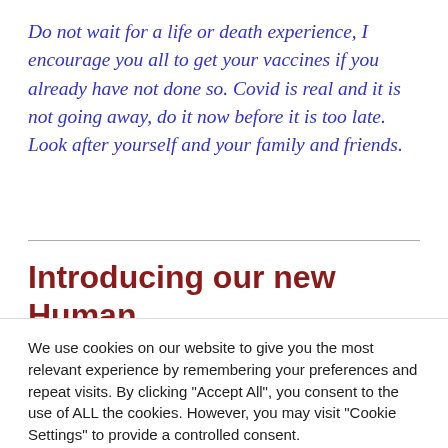Do not wait for a life or death experience, I encourage you all to get your vaccines if you already have not done so. Covid is real and it is not going away, do it now before it is too late. Look after yourself and your family and friends.
Introducing our new Human
We use cookies on our website to give you the most relevant experience by remembering your preferences and repeat visits. By clicking "Accept All", you consent to the use of ALL the cookies. However, you may visit "Cookie Settings" to provide a controlled consent.